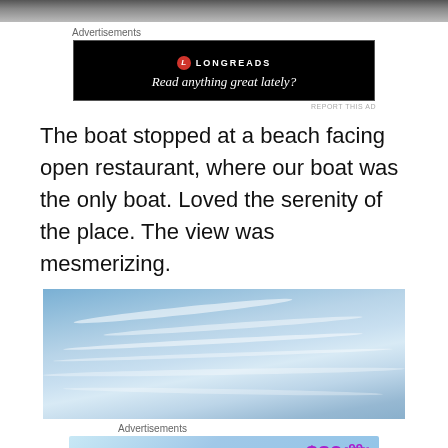[Figure (photo): Top strip of a photo (dark/grey tones, partial view of a boat or ceiling)]
Advertisements
[Figure (other): Longreads advertisement on black background: red circle L logo, LONGREADS text, tagline Read anything great lately?]
REPORT THIS AD
The boat stopped at a beach facing open restaurant, where our boat was the only boat. Loved the serenity of the place. The view was mesmerizing.
[Figure (photo): Panoramic photo of a blue sky with wispy cirrus clouds streaking diagonally]
Advertisements
[Figure (other): Tumblr Ad-Free Browsing advertisement: $39.99 a year or $4.99 a month]
REPORT THIS AD